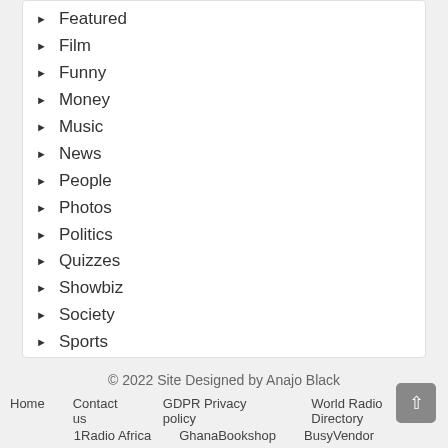Featured
Film
Funny
Money
Music
News
People
Photos
Politics
Quizzes
Showbiz
Society
Sports
Videos
Videos
© 2022 Site Designed by Anajo Black
Home   Contact us   GDPR Privacy policy   World Radio Directory
1Radio Africa   GhanaBookshop   BusyVendor